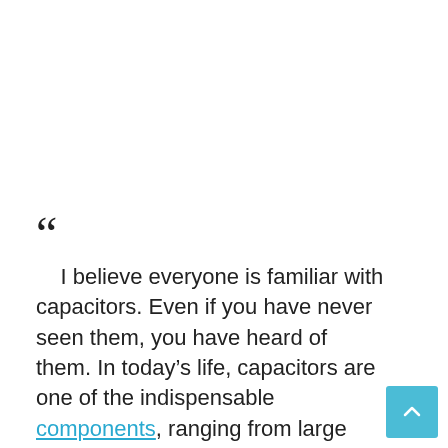“ I believe everyone is familiar with capacitors. Even if you have never seen them, you have heard of them. In today’s life, capacitors are one of the indispensable components, ranging from large circuits to small Electronic motherboards, especially single-phase motors. To start, no capacitor is needed. The so-called capacitor is an electronic component that holds and releases electric charge. The electric